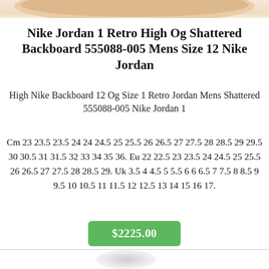[Figure (photo): Partial view of a Nike Jordan sneaker sole/bottom, cropped at top of page]
Nike Jordan 1 Retro High Og Shattered Backboard 555088-005 Mens Size 12 Nike Jordan
High Nike Backboard 12 Og Size 1 Retro Jordan Mens Shattered 555088-005 Nike Jordan 1
Cm 23 23.5 23.5 24 24 24.5 25 25.5 26 26.5 27 27.5 28 28.5 29 29.5 30 30.5 31 31.5 32 33 34 35 36. Eu 22 22.5 23 23.5 24 24.5 25 25.5 26 26.5 27 27.5 28 28.5 29. Uk 3.5 4 4.5 5 5.5 6 6 6.5 7 7.5 8 8.5 9 9.5 10 10.5 11 11.5 12 12.5 13 14 15 16 17.
$2225.00
[Figure (photo): Partial view of next product item below divider line]